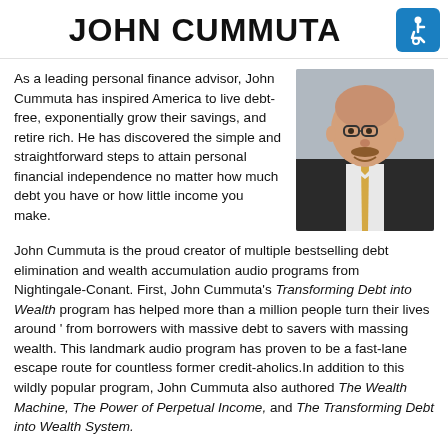JOHN CUMMUTA
[Figure (logo): Blue accessibility/wheelchair icon badge]
As a leading personal finance advisor, John Cummuta has inspired America to live debt-free, exponentially grow their savings, and retire rich. He has discovered the simple and straightforward steps to attain personal financial independence no matter how much debt you have or how little income you make.
[Figure (photo): Professional headshot of John Cummuta, an older bald man wearing glasses, a black suit, white shirt, and gold tie, smiling at the camera]
John Cummuta is the proud creator of multiple bestselling debt elimination and wealth accumulation audio programs from Nightingale-Conant. First, John Cummuta's Transforming Debt into Wealth program has helped more than a million people turn their lives around ' from borrowers with massive debt to savers with massing wealth. This landmark audio program has proven to be a fast-lane escape route for countless former credit-aholics.In addition to this wildly popular program, John Cummuta also authored The Wealth Machine, The Power of Perpetual Income, and The Transforming Debt into Wealth System.
John Cummuta's business and financial background